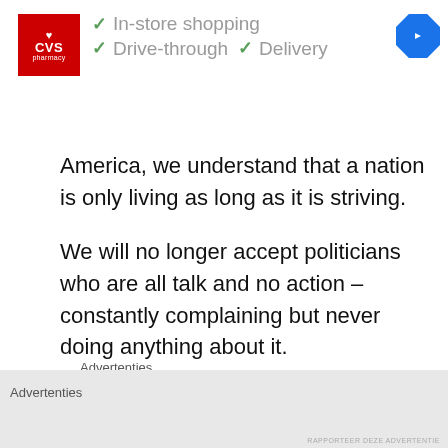[Figure (screenshot): CVS Pharmacy advertisement banner with checkmarks for In-store shopping, Drive-through, and Delivery services, plus a Google Maps navigation icon]
America, we understand that a nation is only living as long as it is striving.
We will no longer accept politicians who are all talk and no action – constantly complaining but never doing anything about it.
The time for empty talk is over.
Advertenties
Advertenties